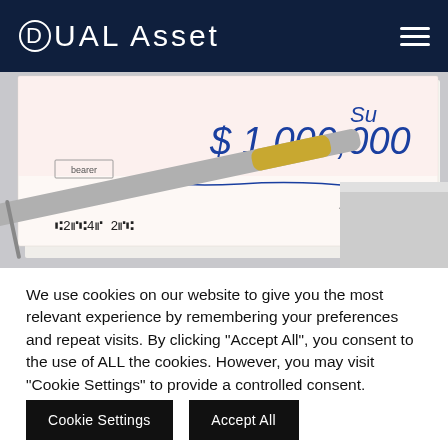DUAL Asset
[Figure (photo): Close-up photo of a check/cheque showing '$1,000,000' written in blue ink with a signature, and a silver and gold pen resting on top. The check shows 'bearer' printed on it and routing numbers at the bottom.]
We use cookies on our website to give you the most relevant experience by remembering your preferences and repeat visits. By clicking "Accept All", you consent to the use of ALL the cookies. However, you may visit "Cookie Settings" to provide a controlled consent.
Cookie Settings
Accept All